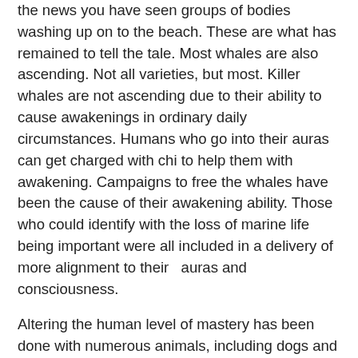the news you have seen groups of bodies washing up on to the beach. These are what has remained to tell the tale. Most whales are also ascending. Not all varieties, but most. Killer whales are not ascending due to their ability to cause awakenings in ordinary daily circumstances. Humans who go into their auras can get charged with chi to help them with awakening. Campaigns to free the whales have been the cause of their awakening ability. Those who could identify with the loss of marine life being important were all included in a delivery of more alignment to their   auras and consciousness.
Altering the human level of mastery has been done with numerous animals, including dogs and cats who appeared to be aware when they were cared for by aware owners. Conscious animals are many—all able to ascend. Are you as free as they are?
When we call you, nothing need be done to gather the children or pets to you. They are to be helped by their own guides. Making the leap to another level of consciousness will be the easiest thing you have ever done, and you will be